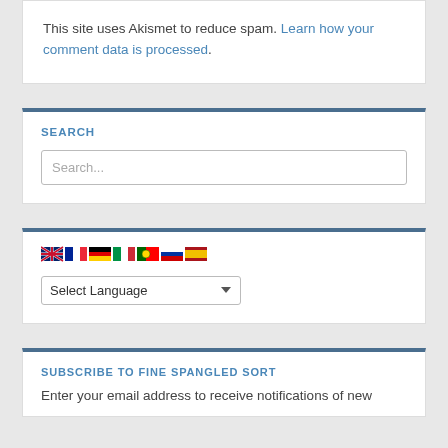This site uses Akismet to reduce spam. Learn how your comment data is processed.
SEARCH
Search...
[Figure (other): Row of country flags (UK, France, Germany, Italy, Portugal, Russia, Spain) for language selection]
Select Language
SUBSCRIBE TO FINE SPANGLED SORT
Enter your email address to receive notifications of new